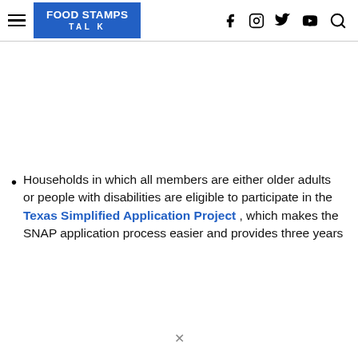FOOD STAMPS TALK
Households in which all members are either older adults or people with disabilities are eligible to participate in the Texas Simplified Application Project, which makes the SNAP application process easier and provides three years